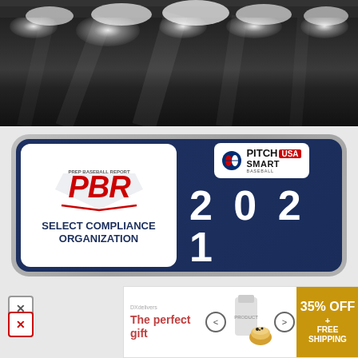[Figure (photo): Stadium or arena photo with dramatic lighting showing light beams from above against a dark background]
[Figure (logo): PBR Prep Baseball Report Select Compliance Organization badge combined with MLB Pitch Smart USA Baseball 2021 badge on dark blue background]
[Figure (logo): Prep Baseball Report Preseason logo badge with red and gray design on dark background]
[Figure (infographic): Advertisement banner: The perfect gift, 35% OFF + FREE SHIPPING, showing food product (rice or similar dish in bowl) with navigation arrows]